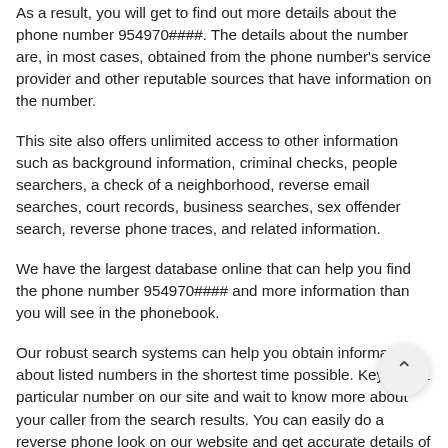As a result, you will get to find out more details about the phone number 954970####. The details about the number are, in most cases, obtained from the phone number's service provider and other reputable sources that have information on the number.
This site also offers unlimited access to other information such as background information, criminal checks, people searchers, a check of a neighborhood, reverse email searches, court records, business searches, sex offender search, reverse phone traces, and related information.
We have the largest database online that can help you find the phone number 954970#### and more information than you will see in the phonebook.
Our robust search systems can help you obtain information about listed numbers in the shortest time possible. Key in that particular number on our site and wait to know more about your caller from the search results. You can easily do a reverse phone look on our website and get accurate details of your caller.